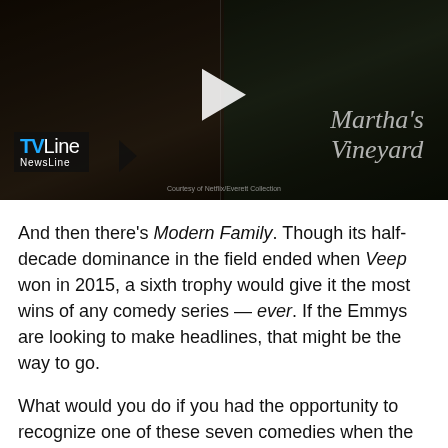[Figure (screenshot): TVLine NewsLine video thumbnail showing two people seated outdoors. A play button is visible in the center. The TVLine NewsLine logo appears at bottom left. 'Martha's Vineyard' text appears in cursive at bottom right. A courtesy credit line is at the bottom center.]
And then there's Modern Family. Though its half-decade dominance in the field ended when Veep won in 2015, a sixth trophy would give it the most wins of any comedy series — ever. If the Emmys are looking to make headlines, that might be the way to go.
What would you do if you had the opportunity to recognize one of these seven comedies when the Emmys are handed out on Sept. 18? Take our poll below to vote for your favorite, then hit the comments to defend your pick.